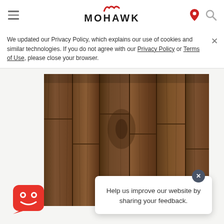[Figure (logo): Mohawk flooring brand logo with red swoosh marks above bold black MOHAWK text]
We updated our Privacy Policy, which explains our use of cookies and similar technologies. If you do not agree with our Privacy Policy or Terms of Use, please close your browser.
[Figure (photo): Dark brown hardwood flooring planks shown from above, warm walnut tones with visible wood grain]
Help us improve our website by sharing your feedback.